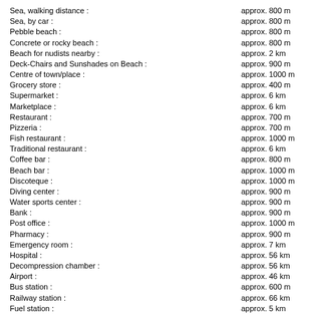Sea, walking distance : approx. 800 m
Sea, by car : approx. 800 m
Pebble beach : approx. 800 m
Concrete or rocky beach : approx. 800 m
Beach for nudists nearby : approx. 2 km
Deck-Chairs and Sunshades on Beach : approx. 900 m
Centre of town/place : approx. 1000 m
Grocery store : approx. 400 m
Supermarket : approx. 6 km
Marketplace : approx. 6 km
Restaurant : approx. 700 m
Pizzeria : approx. 700 m
Fish restaurant : approx. 1000 m
Traditional restaurant : approx. 6 km
Coffee bar : approx. 800 m
Beach bar : approx. 1000 m
Discoteque : approx. 1000 m
Diving center : approx. 900 m
Water sports center : approx. 900 m
Bank : approx. 900 m
Post office : approx. 1000 m
Pharmacy : approx. 900 m
Emergency room : approx. 7 km
Hospital : approx. 56 km
Decompression chamber : approx. 56 km
Airport : approx. 46 km
Bus station : approx. 600 m
Railway station : approx. 66 km
Fuel station : approx. 5 km
Children's playground : approx. 1000 m
Outdoor swimming pool : approx. 1500 m
Fitness centre : approx. 1100 m